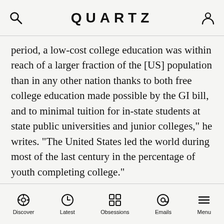QUARTZ
period, a low-cost college education was within reach of a larger fraction of the [US] population than in any other nation thanks to both free college education made possible by the GI bill, and to minimal tuition for in-state students at state public universities and junior colleges," he writes. "The United States led the world during most of the last century in the percentage of youth completing college."
Importantly, Gordon doesn’t call for free higher education, a policy that has become a central plank of Democratic presidential hopeful Bernie Sanders’ insurgent campaign. Instead, Gordon points to so-called income-contingent-based repayment as a solution. The Obama administration introduced income-
Discover  Latest  Obsessions  Emails  Menu